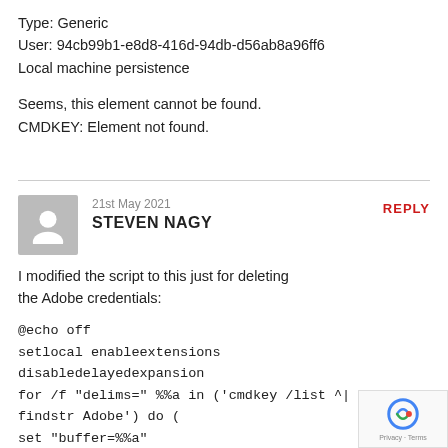Type: Generic
User: 94cb99b1-e8d8-416d-94db-d56ab8a96ff6
Local machine persistence
Seems, this element cannot be found.
CMDKEY: Element not found.
21st May 2021
STEVEN NAGY
I modified the script to this just for deleting the Adobe credentials:
@echo off
setlocal enableextensions disabledelayedexpansion
for /f "delims=" %%a in ('cmdkey /list ^| findstr Adobe') do (
set "buffer=%%a"
setlocal enabledelayedexpansion
(for /f "tokens=1,2 delims=¬" %%b in